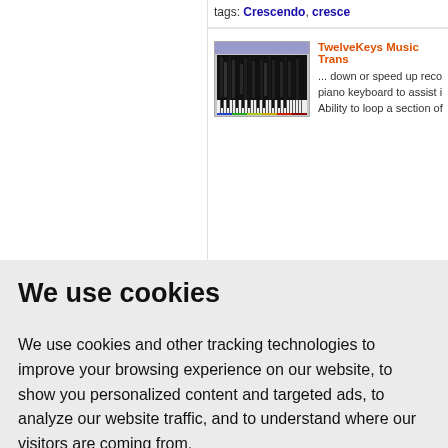tags: Crescendo, cresce...
[Figure (screenshot): TwelveKeys Music Transcription software screenshot showing piano keyboard spectrogram view]
TwelveKeys Music Trans... ... down or speed up reco... piano keyboard to assist i... Ability to loop a section of
We use cookies
We use cookies and other tracking technologies to improve your browsing experience on our website, to show you personalized content and targeted ads, to analyze our website traffic, and to understand where our visitors are coming from.
I agree
Change my preferences